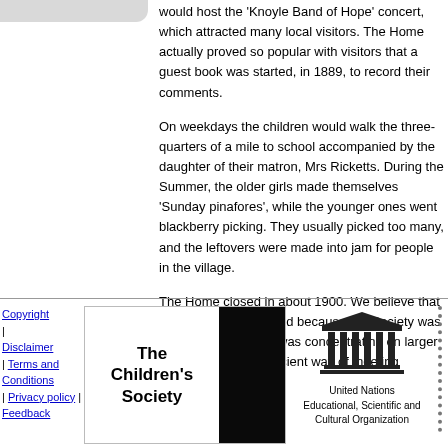would host the 'Knoyle Band of Hope' concert, which attracted many local visitors. The Home actually proved so popular with visitors that a guest book was started, in 1889, to record their comments.
On weekdays the children would walk the three-quarters of a mile to school accompanied by the daughter of their matron, Mrs Ricketts. During the Summer, the older girls made themselves 'Sunday pinafores', while the younger ones went blackberry picking. They usually picked too many, and the leftovers were made into jam for people in the village.
The Home closed in about 1900. We believe that this may have occurred because the Society was growing rapidly, and was concentrating on larger homes as a more efficient way of meeting children's needs.
Copyright | Disclaimer | Terms and Conditions | Privacy policy | Feedback   The Children's Society   United Nations Educational, Scientific and Cultural Organization